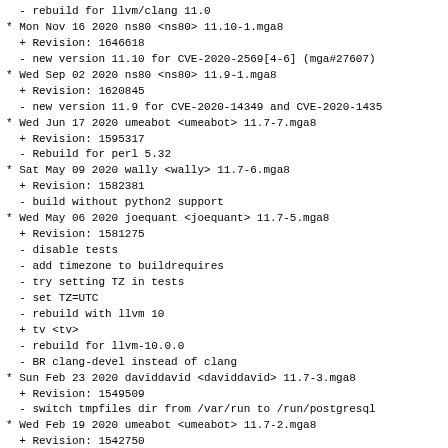- rebuild for llvm/clang 11.0
* Mon Nov 16 2020 ns80 <ns80> 11.10-1.mga8
  + Revision: 1646618
  - new version 11.10 for CVE-2020-2569[4-6] (mga#27607)
* Wed Sep 02 2020 ns80 <ns80> 11.9-1.mga8
  + Revision: 1620845
  - new version 11.9 for CVE-2020-14349 and CVE-2020-1435
* Wed Jun 17 2020 umeabot <umeabot> 11.7-7.mga8
  + Revision: 1595317
  - Rebuild for perl 5.32
* Sat May 09 2020 wally <wally> 11.7-6.mga8
  + Revision: 1582381
  - build without python2 support
* Wed May 06 2020 joequant <joequant> 11.7-5.mga8
  + Revision: 1581275
  - disable tests
  - add timezone to buildrequires
  - try setting TZ in tests
  - set TZ=UTC
  - rebuild with llvm 10
  + tv <tv>
  - rebuild for llvm-10.0.0
  - BR clang-devel instead of clang
* Sun Feb 23 2020 daviddavid <daviddavid> 11.7-3.mga8
  + Revision: 1549509
  - switch tmpfiles dir from /var/run to /run/postgresql
* Wed Feb 19 2020 umeabot <umeabot> 11.7-2.mga8
  + Revision: 1542750
  - Mageia 8 Mass Rebuild
* Sat Feb 15 2020 mokraemer <mokraemer> 11.7-1.mga8
  + Revision: 1536300